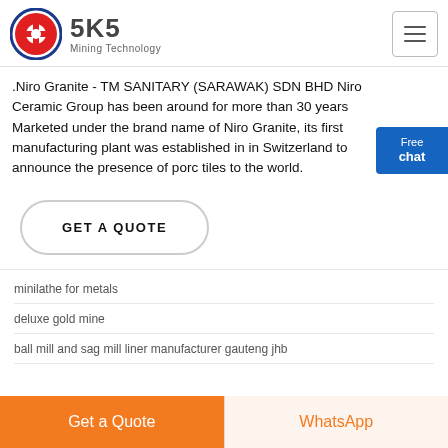SKS Mining Technology
.Niro Granite - TM SANITARY (SARAWAK) SDN BHD Niro Ceramic Group has been around for more than 30 years Marketed under the brand name of Niro Granite, its first manufacturing plant was established in in Switzerland to announce the presence of porcelain tiles to the world.
GET A QUOTE
minilathe for metals
deluxe gold mine
ball mill and sag mill liner manufacturer gauteng jhb
Get a Quote   WhatsApp